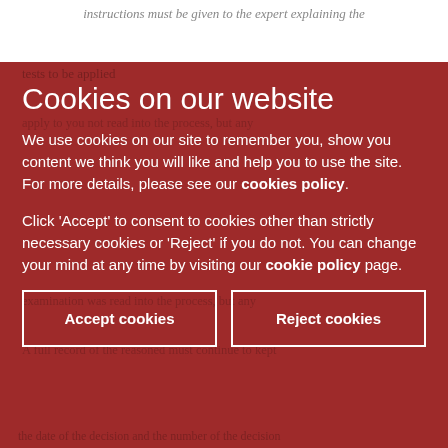instructions must be given to the expert explaining the
tests to be applied
Cookies on our website
We use cookies on our site to remember you, show you content we think you will like and help you to use the site. For more details, please see our cookies policy.
Click 'Accept' to consent to cookies other than strictly necessary cookies or 'Reject' if you do not. You can change your mind at any time by visiting our cookie policy page.
Accept cookies
Reject cookies
the date of the decision and the number of the decision